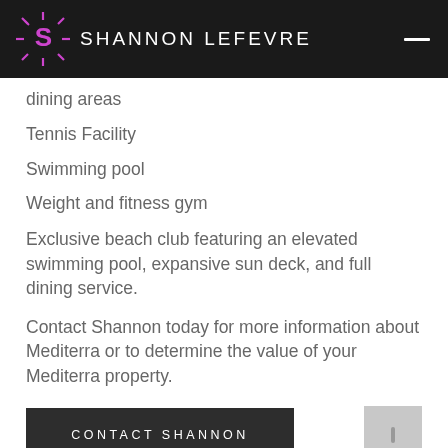SHANNON LEFEVRE
dining areas
Tennis Facility
Swimming pool
Weight and fitness gym
Exclusive beach club featuring an elevated swimming pool, expansive sun deck, and full dining service.
Contact Shannon today for more information about Mediterra or to determine the value of your Mediterra property.
CONTACT SHANNON